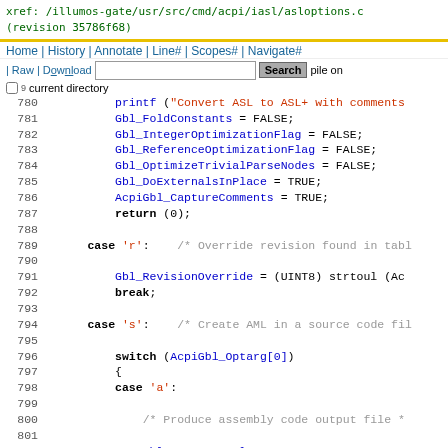xref: /illumos-gate/usr/src/cmd/acpi/iasl/asloptions.c (revision 35786f68)
Home | History | Annotate | Line# | Scopes# | Navigate#
| Raw | Download | [search box] Search pile on current directory
780-802: source code lines showing ASL options C file